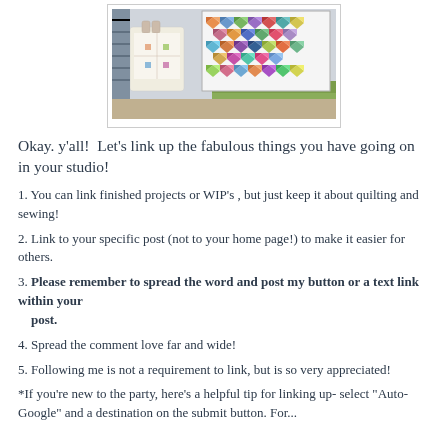[Figure (photo): Photo of a colorful quilt with bear paw or tulip block pattern hung on a wall, with a matching tote bag and a green couch visible]
Okay. y'all!  Let's link up the fabulous things you have going on in your studio!
1. You can link finished projects or WIP's , but just keep it about quilting and sewing!
2. Link to your specific post (not to your home page!) to make it easier for others.
3. Please remember to spread the word and post my button or a text link within your post.
4. Spread the comment love far and wide!
5. Following me is not a requirement to link, but is so very appreciated!
*If you're new to the party, here's a helpful tip for linking up- select "Auto-Google" and a destination on the submit button. For...